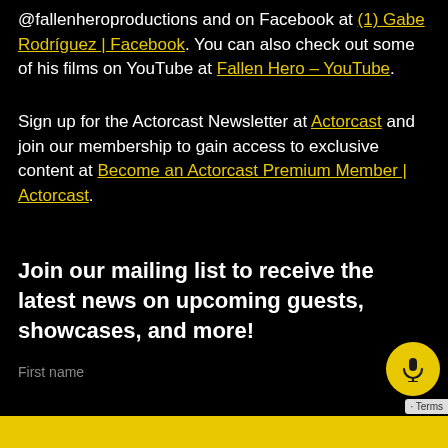@fallenheroproductions and on Facebook at (1) Gabe Rodríguez | Facebook. You can also check out some of his films on YouTube at Fallen Hero – YouTube.
Sign up for the Actorcast Newsletter at Actorcast and join our membership to gain access to exclusive content at Become an Actorcast Premium Member | Actorcast.
Join our mailing list to receive the latest news on upcoming guests, showcases, and more!
First name